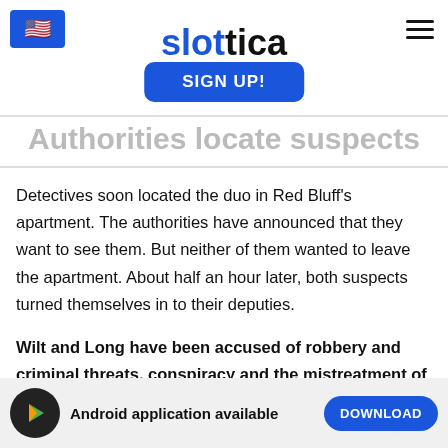slottica — SIGN UP!
Authorities locate suspects
Detectives soon located the duo in Red Bluff's apartment. The authorities have announced that they want to see them. But neither of them wanted to leave the apartment. About half an hour later, both suspects turned themselves in to their deputies.
Wilt and Long have been accused of robbery and criminal threats, conspiracy and the mistreatment of elderly people with serious injuries, the report said.
Android application available  DOWNLOAD